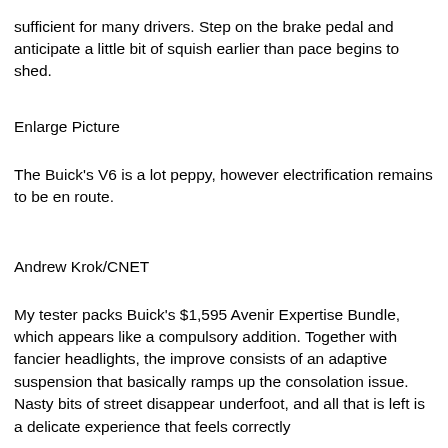sufficient for many drivers. Step on the brake pedal and anticipate a little bit of squish earlier than pace begins to shed.
Enlarge Picture
The Buick's V6 is a lot peppy, however electrification remains to be en route.
Andrew Krok/CNET
My tester packs Buick's $1,595 Avenir Expertise Bundle, which appears like a compulsory addition. Together with fancier headlights, the improve consists of an adaptive suspension that basically ramps up the consolation issue. Nasty bits of street disappear underfoot, and all that is left is a delicate experience that feels correctly